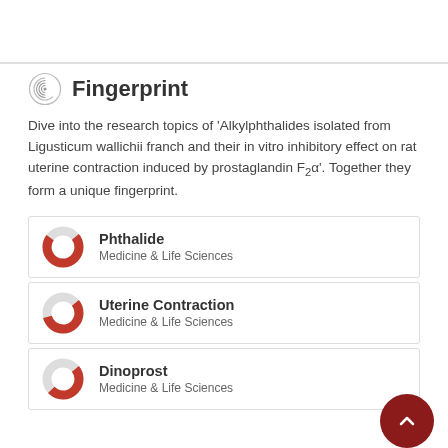Fingerprint
Dive into the research topics of 'Alkylphthalides isolated from Ligusticum wallichii franch and their in vitro inhibitory effect on rat uterine contraction induced by prostaglandin F2α'. Together they form a unique fingerprint.
Phthalide — Medicine & Life Sciences
Uterine Contraction — Medicine & Life Sciences
Dinoprost — Medicine & Life Sciences